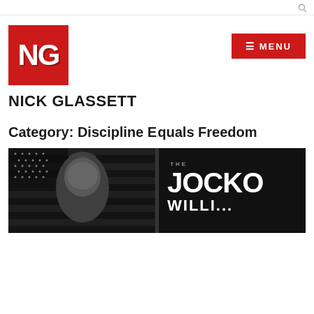Search icon (top right navigation bar)
[Figure (logo): Red square logo with white letters NG (Nick Glassett)]
[Figure (other): Red button with hamburger menu icon and MENU text]
NICK GLASSETT
Category: Discipline Equals Freedom
[Figure (photo): Book cover or promotional image showing a man against an American flag background on the left (black and white), and on the right dark background with text: THE JOCKO (partially visible)]